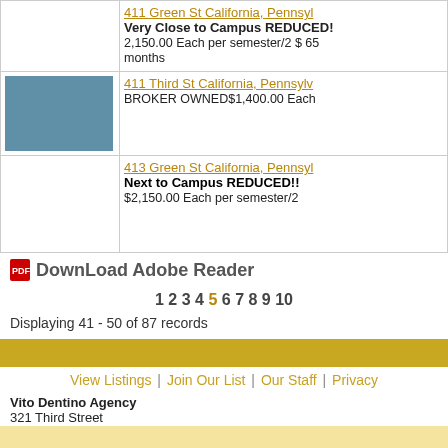| Image | Listing |
| --- | --- |
| [image] | 411 Green St  California, Pennsyl...
Very Close to Campus REDUCED!
2,150.00 Each per semester/2 $ 65
months |
| [image] | 411 Third St  California, Pennsylv...
BROKER OWNED$1,400.00 Each |
| [image] | 413 Green St  California, Pennsyl...
Next to Campus REDUCED!!
$2,150.00 Each per semester/2 |
DownLoad Adobe Reader
1 2 3 4 5 6 7 8 9 10
Displaying 41 - 50 of 87 records
View Listings | Join Our List | Our Staff | Privacy
Vito Dentino Agency
321 Third Street
California, Pennsylvania 15419